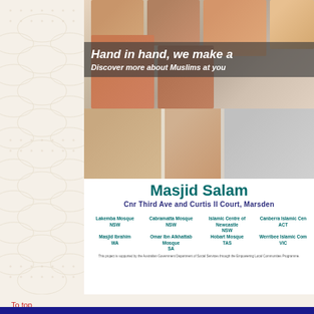[Figure (photo): Collage of diverse people/families with text overlay: 'Hand in hand, we make a' and 'Discover more about Muslims at you']
Hand in hand, we make a
Discover more about Muslims at you
[Figure (photo): Lower photo collage showing people including couple and children]
Masjid Salam
Cnr Third Ave and Curtis II Court, Marsden
| Lakemba Mosque NSW | Cabramatta Mosque NSW | Islamic Centre of Newcastle NSW | Canberra Islamic Cen ACT |
| Masjid Ibrahim WA | Omar Ibn Alkhattab Mosque SA | Hobart Mosque TAS | Werribee Islamic Com VIC |
This project is supported by the Australian Government Department of Social Services through the Empowering Local Communities Programme.
To top